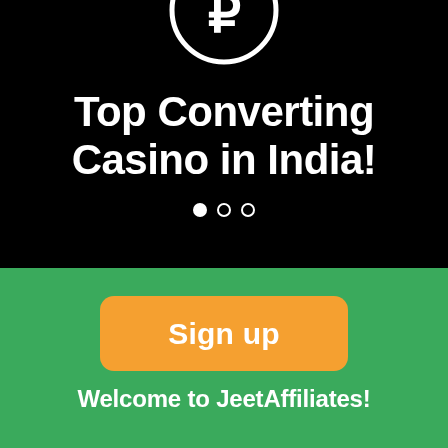[Figure (logo): Circular icon with a currency/rupee-like symbol (₽) in white outline on black background, partially cropped at top]
Top Converting Casino in India!
[Figure (infographic): Three dot pagination indicator: one filled white dot and two empty circle dots]
Sign up
Welcome to JeetAffiliates!